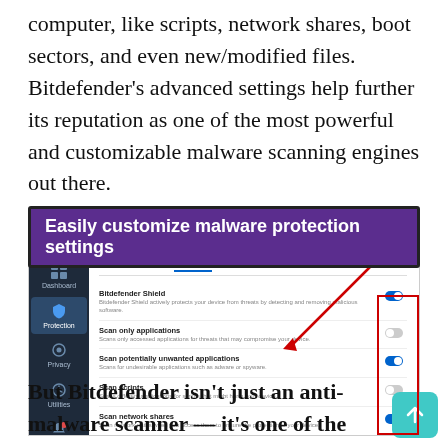computer, like scripts, network shares, boot sectors, and even new/modified files. Bitdefender's advanced settings help further its reputation as one of the most powerful and customizable malware scanning engines out there.
[Figure (screenshot): Screenshot of Bitdefender antivirus software showing the Advanced settings tab with toggle switches for: Bitdefender Shield (on), Scan only applications (off), Scan potentially unwanted applications (on), Scan scripts (off), Scan network shares (on), Scan archives (off). A purple annotation banner reads 'Easily customize malware protection settings' and a red arrow points to the toggle column highlighted with a red rectangle.]
But Bitdefender isn't just an anti-malware scanner — it's one of the most comprehensive